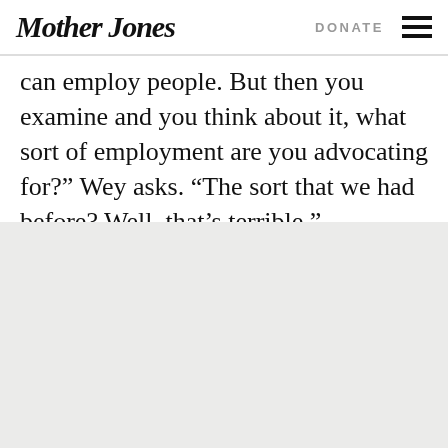Mother Jones | DONATE
can employ people. But then you examine and you think about it, what sort of employment are you advocating for?” Wey asks. “The sort that we had before? Well, that’s terrible.”